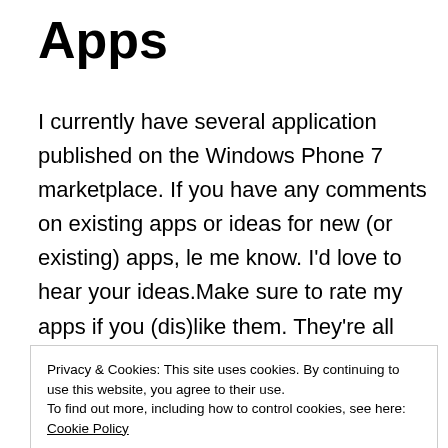Apps
I currently have several application published on the Windows Phone 7 marketplace. If you have any comments on existing apps or ideas for new (or existing) apps, le me know. I'd love to hear your ideas.Make sure to rate my apps if you (dis)like them. They're all free so what's not to like.
Privacy & Cookies: This site uses cookies. By continuing to use this website, you agree to their use.
To find out more, including how to control cookies, see here: Cookie Policy
Close and accept
using the cinebel.be information, shows all the movies